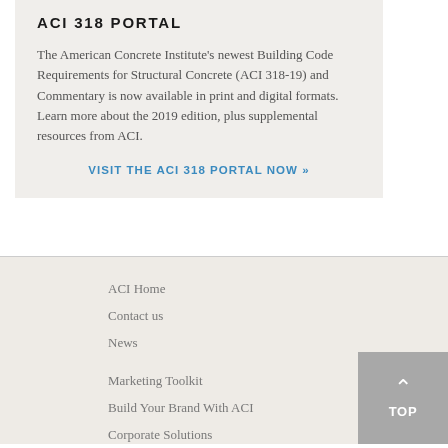ACI 318 PORTAL
The American Concrete Institute's newest Building Code Requirements for Structural Concrete (ACI 318-19) and Commentary is now available in print and digital formats. Learn more about the 2019 edition, plus supplemental resources from ACI.
VISIT THE ACI 318 PORTAL NOW »
ACI Home
Contact us
News
Marketing Toolkit
Build Your Brand With ACI
Corporate Solutions